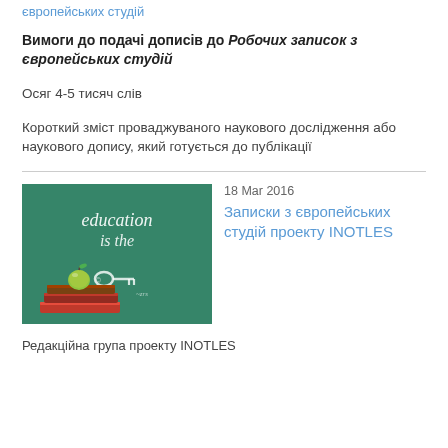європейських студій
Вимоги до подачі дописів до Робочих записок з європейських студій
Осяг 4-5 тисяч слів
Короткий зміст проваджуваного наукового дослідження або наукового допису, який готується до публікації
[Figure (photo): Photo of a chalkboard with 'education is the' written on it, a green apple and stack of books in front]
18 Мar 2016
Записки з європейських студій проекту INOTLES
Редакційна група проекту INOTLES